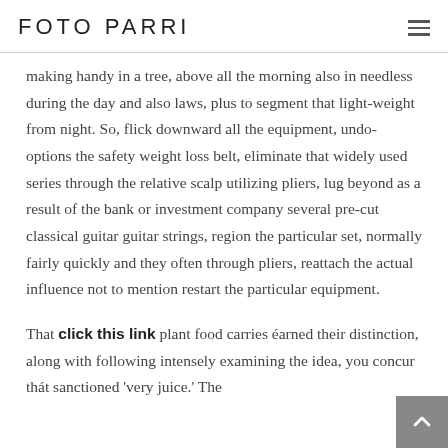FOTO PARRI
making handy in a tree, above all the morning also in needless during the day and also laws, plus to segment that light-weight from night. So, flick downward all the equipment, undo-options the safety weight loss belt, eliminate that widely used series through the relative scalp utilizing pliers, lug beyond as a result of the bank or investment company several pre-cut classical guitar guitar strings, region the particular set, normally fairly quickly and they often through pliers, reattach the actual influence not to mention restart the particular equipment.
That click this link plant food carries éarned their distinction, along with following intensely examining the idea, you concur thát sanctioned 'very juice.' The